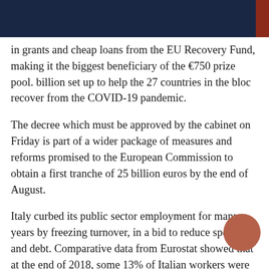in grants and cheap loans from the EU Recovery Fund, making it the biggest beneficiary of the €750 prize pool. billion set up to help the 27 countries in the bloc recover from the COVID-19 pandemic.
The decree which must be approved by the cabinet on Friday is part of a wider package of measures and reforms promised to the European Commission to obtain a first tranche of 25 billion euros by the end of August.
Italy curbed its public sector employment for many years by freezing turnover, in a bid to reduce spending and debt. Comparative data from Eurostat showed that at the end of 2018, some 13% of Italian workers were employed by the government, compared to an EU average of 16%.
The vast majority of hiring will go to the justice sector.